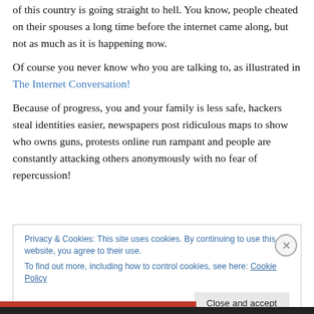of this country is going straight to hell. You know, people cheated on their spouses a long time before the internet came along, but not as much as it is happening now.
Of course you never know who you are talking to, as illustrated in The Internet Conversation!
Because of progress, you and your family is less safe, hackers steal identities easier, newspapers post ridiculous maps to show who owns guns, protests online run rampant and people are constantly attacking others anonymously with no fear of repercussion!
Privacy & Cookies: This site uses cookies. By continuing to use this website, you agree to their use.
To find out more, including how to control cookies, see here: Cookie Policy